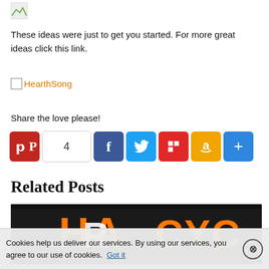[Figure (photo): Small image/icon in top-left corner]
These ideas were just to get you started. For more great ideas click this link.
HearthSong
Share the love please!
[Figure (infographic): Social sharing buttons row: Pinterest (with count 4), Facebook, Twitter, Flipboard, Amazon, More (+)]
Related Posts
[Figure (photo): Partial image showing Harley-Davidson motorcycle branding in orange and black]
Cookies help us deliver our services. By using our services, you agree to our use of cookies.  Got it